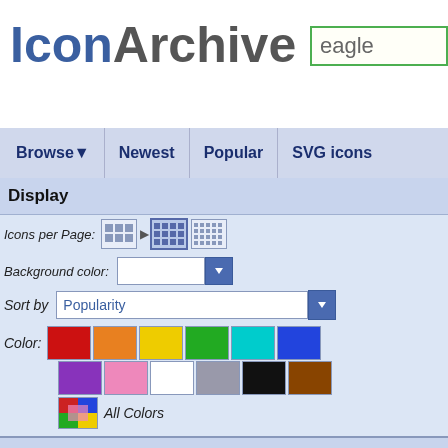IconArchive
eagle (search box)
Browse ▼   Newest   Popular   SVG icons
Display
Icons per Page:
Background color:
Sort by   Popularity
Color:
All Colors
Search Filters
Size:  Medium Icons [64-128
Category:  Food
e:  3D
Results 1-0 of 0 for search term '
Your search for »eagle« did not
If you agree to remove the fi
Results 1-0 of 0 for search term '